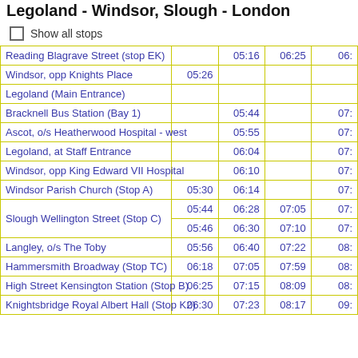Legoland - Windsor, Slough - London
Show all stops
| Stop | Col1 | Col2 | Col3 | Col4 |
| --- | --- | --- | --- | --- |
| Reading Blagrave Street (stop EK) |  | 05:16 | 06:25 | 06:… |
| Windsor, opp Knights Place | 05:26 |  |  |  |
| Legoland (Main Entrance) |  |  |  |  |
| Bracknell Bus Station (Bay 1) |  | 05:44 |  | 07:… |
| Ascot, o/s Heatherwood Hospital - west |  | 05:55 |  | 07:… |
| Legoland, at Staff Entrance |  | 06:04 |  | 07:… |
| Windsor, opp King Edward VII Hospital |  | 06:10 |  | 07:… |
| Windsor Parish Church (Stop A) | 05:30 | 06:14 |  | 07:… |
| Slough Wellington Street (Stop C) | 05:44 / 05:46 | 06:28 / 06:30 | 07:05 / 07:10 | 07:… / 07:… |
| Langley, o/s The Toby | 05:56 | 06:40 | 07:22 | 08:… |
| Hammersmith Broadway (Stop TC) | 06:18 | 07:05 | 07:59 | 08:… |
| High Street Kensington Station (Stop B) | 06:25 | 07:15 | 08:09 | 08:… |
| Knightsbridge Royal Albert Hall (Stop K2) | 06:30 | 07:23 | 08:17 | 09:… |